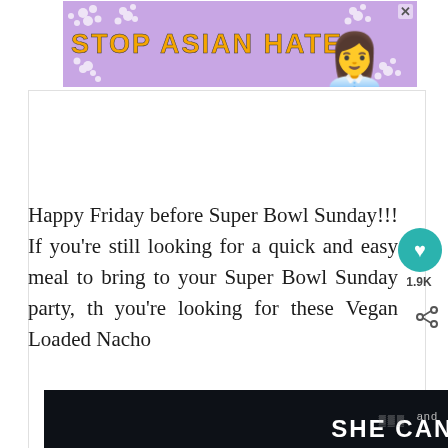[Figure (screenshot): Advertisement banner with purple/lavender background, white flower decorations, orange bold text reading 'STOP ASIAN HATE' in Impact font, animated female character illustration on the right, and X close button in the top-right corner.]
Happy Friday before Super Bowl Sunday!!! If you're still looking for a quick and easy meal to bring to your Super Bowl Sunday party, th you're looking for these Vegan Loaded Nacho
[Figure (screenshot): Advertisement banner with dark/black background and bold white text reading 'SHE CAN STEM', partially visible at bottom of page.]